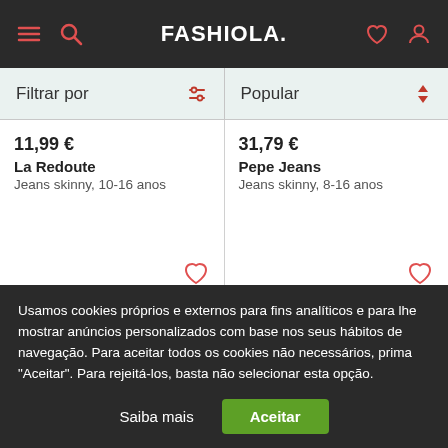FASHIOLA.
Filtrar por
Popular
11,99 €
La Redoute
Jeans skinny, 10-16 anos
31,79 €
Pepe Jeans
Jeans skinny, 8-16 anos
Usamos cookies próprios e externos para fins analíticos e para lhe mostrar anúncios personalizados com base nos seus hábitos de navegação. Para aceitar todos os cookies não necessários, prima "Aceitar". Para rejeitá-los, basta não selecionar esta opção.
Saiba mais
Aceitar